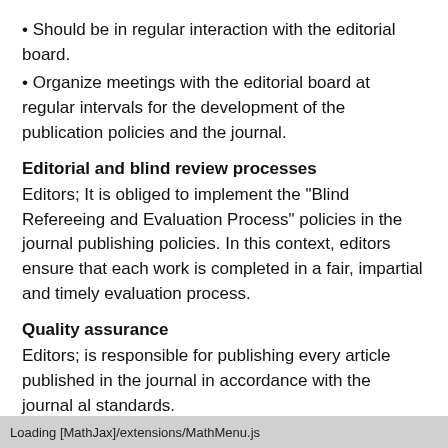• Should be in regular interaction with the editorial board.
• Organize meetings with the editorial board at regular intervals for the development of the publication policies and the journal.
Editorial and blind review processes
Editors; It is obliged to implement the "Blind Refereeing and Evaluation Process" policies in the journal publishing policies. In this context, editors ensure that each work is completed in a fair, impartial and timely evaluation process.
Quality assurance
Editors; is responsible for publishing every article published in the journal in accordance with the journal al standards.
Loading [MathJax]/extensions/MathMenu.js